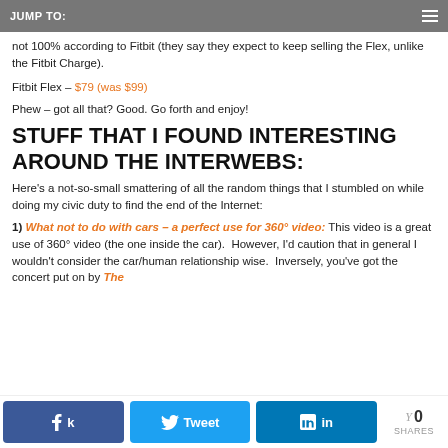JUMP TO:
not 100% according to Fitbit (they say they expect to keep selling the Flex, unlike the Fitbit Charge).
Fitbit Flex – $79 (was $99)
Phew – got all that? Good. Go forth and enjoy!
STUFF THAT I FOUND INTERESTING AROUND THE INTERWEBS:
Here's a not-so-small smattering of all the random things that I stumbled on while doing my civic duty to find the end of the Internet:
1) What not to do with cars – a perfect use for 360° video: This video is a great use of 360° video (the one inside the car).  However, I'd caution that in general I wouldn't consider the car/human relationship wise.  Inversely, you've got the concert put on by The
0 SHARES